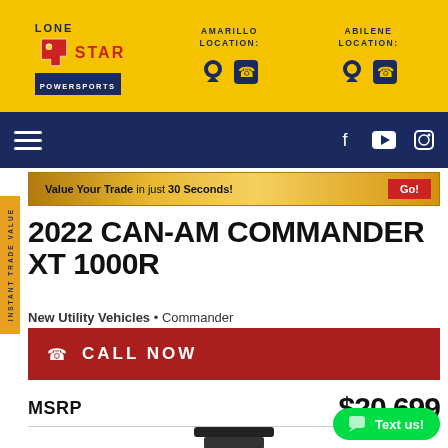[Figure (logo): Lone Star Powersports logo with Texas state shape, red white and blue colors]
AMARILLO LOCATION:
ABILENE LOCATION:
[Figure (screenshot): Navigation bar with hamburger menu, Facebook, YouTube, and Instagram icons on dark navy background]
INSTANT TRADE VALUE
Value Your Trade in just 30 Seconds!   Go!
2022 CAN-AM COMMANDER XT 1000R
New Utility Vehicles • Commander
CALL NOW
MSRP  $20,699
Text us!